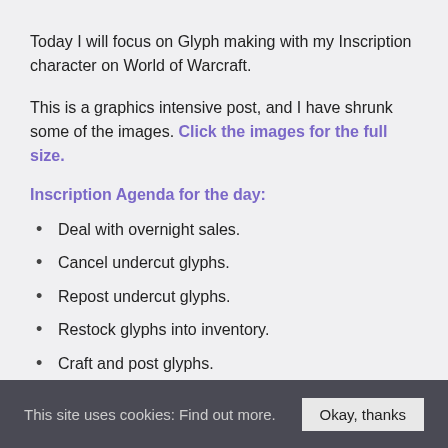Today I will focus on Glyph making with my Inscription character on World of Warcraft.
This is a graphics intensive post, and I have shrunk some of the images. Click the images for the full size.
Inscription Agenda for the day:
Deal with overnight sales.
Cancel undercut glyphs.
Repost undercut glyphs.
Restock glyphs into inventory.
Craft and post glyphs.
Continue to occasionally scan for and react to undercutting across the Auction House.
This site uses cookies: Find out more. Okay, thanks